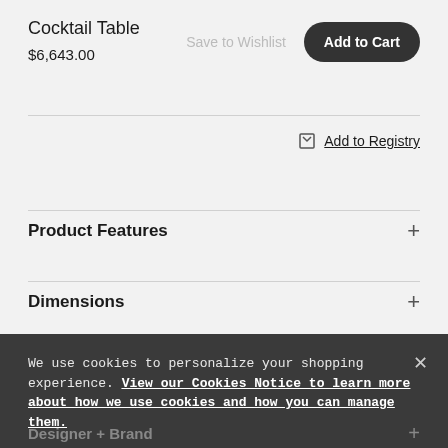Cocktail Table
$6,643.00
Save to Wishlist
Add to Cart
Add to Registry
Product Features
Dimensions
Shipping and Returns
We use cookies to personalize your shopping experience. View our Cookies Notice to learn more about how we use cookies and how you can manage them.
Designer + Brand